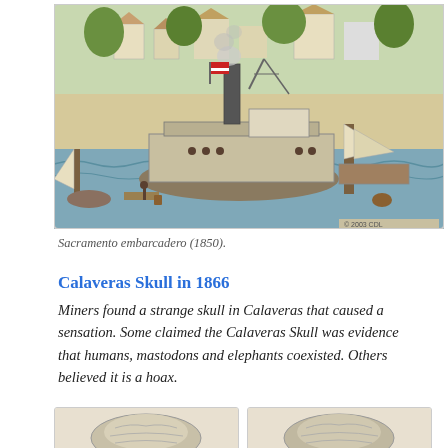[Figure (illustration): Historical illustration of Sacramento embarcadero in 1850, showing a steamboat on a river with a town in the background, people on the dock, and sailing ships.]
Sacramento embarcadero (1850).
Calaveras Skull in 1866
Miners found a strange skull in Calaveras that caused a sensation. Some claimed the Calaveras Skull was evidence that humans, mastodons and elephants coexisted. Others believed it is a hoax.
[Figure (photo): Black and white photograph of the Calaveras Skull, left view.]
[Figure (photo): Black and white photograph of the Calaveras Skull, right view.]